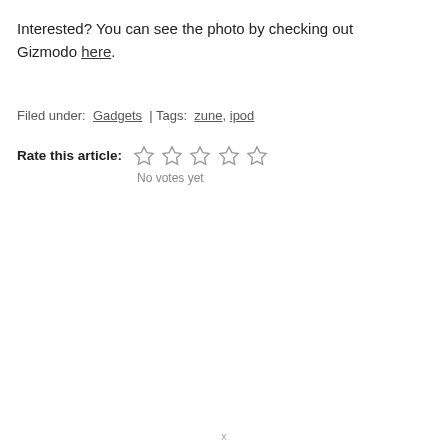Interested? You can see the photo by checking out Gizmodo here.
Filed under:  Gadgets  | Tags:  zune, ipod
Rate this article: ☆☆☆☆☆
No votes yet